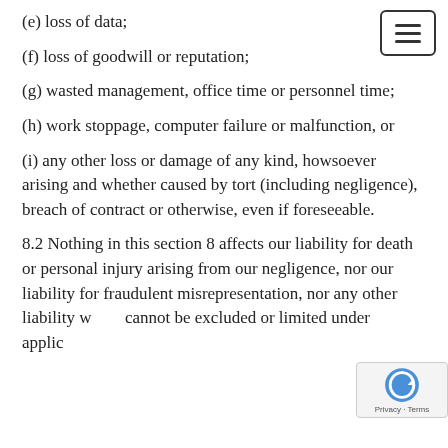(e) loss of data;
(f) loss of goodwill or reputation;
(g) wasted management, office time or personnel time;
(h) work stoppage, computer failure or malfunction, or
(i) any other loss or damage of any kind, howsoever arising and whether caused by tort (including negligence), breach of contract or otherwise, even if foreseeable.
8.2 Nothing in this section 8 affects our liability for death or personal injury arising from our negligence, nor our liability for fraudulent misrepresentation, nor any other liability which cannot be excluded or limited under applicable law.